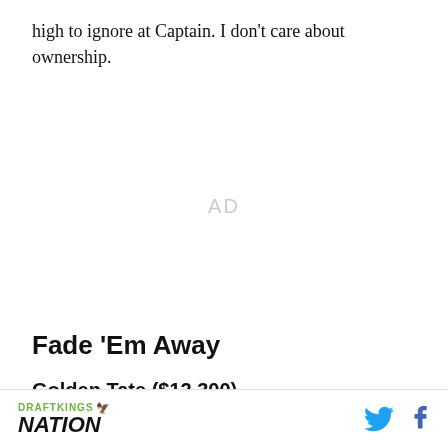high to ignore at Captain. I don't care about ownership.
[Figure (other): Advertisement placeholder area with 'AD' text in light gray]
Fade 'Em Away
Golden Tate ($12,300)
DRAFTKINGS NATION [with social icons for Twitter and Facebook]